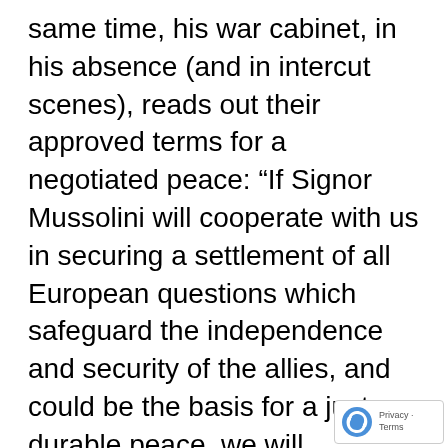same time, his war cabinet, in his absence (and in intercut scenes), reads out their approved terms for a negotiated peace: “If Signor Mussolini will cooperate with us in securing a settlement of all European questions which safeguard the independence and security of the allies, and could be the basis for a just a durable peace, we will undertake at once to discuss, with the desire to find solutions, the matters in which Signor Mussolini is principally interested. We understand that he desires the solution of certain Mediterranean questions, and if he shall state in secrecy what these are, France and Great Britain will do their best to meet his wishes.” Goodness, hadn’t Chamberlain learned anything from his Munich debacle?